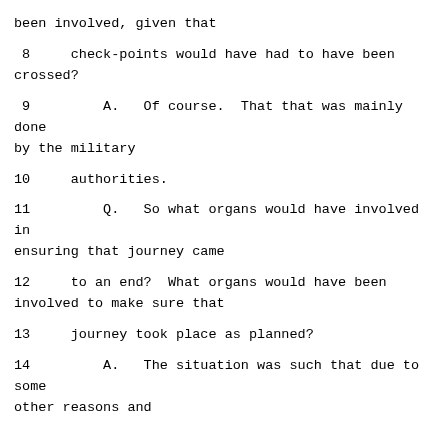been involved, given that
8     check-points would have had to have been crossed?
9         A.   Of course.  That that was mainly done by the military
10     authorities.
11         Q.   So what organs would have involved in ensuring that journey came
12     to an end?  What organs would have been involved to make sure that
13     journey took place as planned?
14         A.   The situation was such that due to some other reasons and